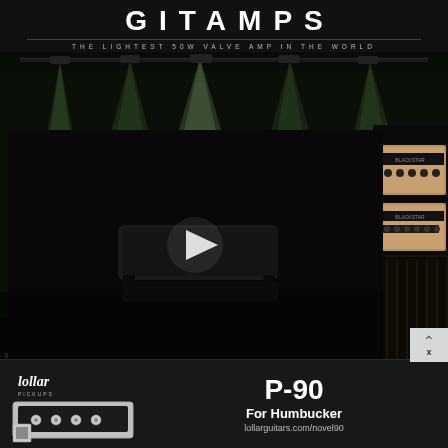GITAMPS
THE LIGHTEST 50W VALVE AMP IN THE WORLD
[Figure (photo): Concert stage with dramatic overhead lighting — multiple bright spotlights shining downward from a rigging structure in a dark venue]
[Figure (screenshot): Black video player frame showing a dark guitar amp or pedal object with a white play button triangle in the center, and amplifier stacks visible on the right side]
[Figure (photo): Advertisement banner for Lollar Pickups P-90 For Humbucker guitar pickup, showing the pickup product on the left with Lollar logo, and text 'P-90 For Humbucker lollarguitars.com/novel90' on the right]
P-90
For Humbucker
lollarguitars.com/novel90